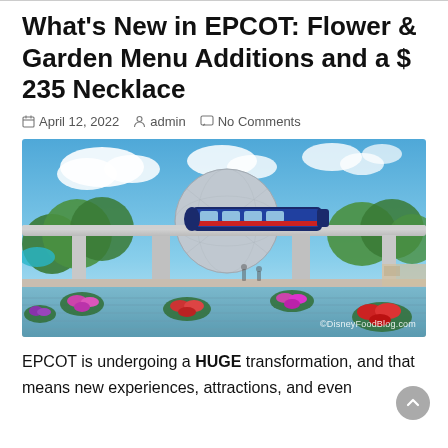What's New in EPCOT: Flower & Garden Menu Additions and a $ 235 Necklace
April 12, 2022  admin  No Comments
[Figure (photo): Photo of EPCOT theme park showing the Spaceship Earth geodesic sphere in the background, a monorail passing overhead on an elevated track, a reflecting pool with floating flower arrangements in the foreground, and lush green trees. Watermark reads ©DisneyFoodBlog.com]
EPCOT is undergoing a HUGE transformation, and that means new experiences, attractions, and even